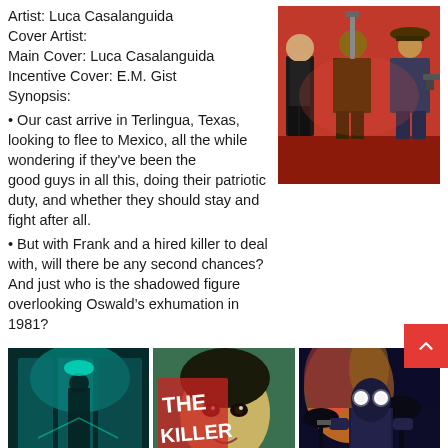Artist: Luca Casalanguida
Cover Artist:
Main Cover: Luca Casalanguida
Incentive Cover: E.M. Gist
Synopsis:
[Figure (illustration): Comic book cover showing three action figures on a red background - a man in a suit, a woman, and a man with a hat holding weapons]
• Our cast arrive in Terlingua, Texas, looking to flee to Mexico, all the while wondering if they've been the good guys in all this, doing their patriotic duty, and whether they should stay and fight after all.
• But with Frank and a hired killer to deal with, will there be any second chances? And just who is the shadowed figure overlooking Oswald's exhumation in 1981?
[Figure (photo): Dark teal image showing a figure with chains in a dimly lit scene]
[Figure (illustration): The Killer comic book cover showing a woman's face with red text 'THE KILLER']
[Figure (illustration): Dark illustration of a glowing-eyed figure against a fiery background with palm trees]